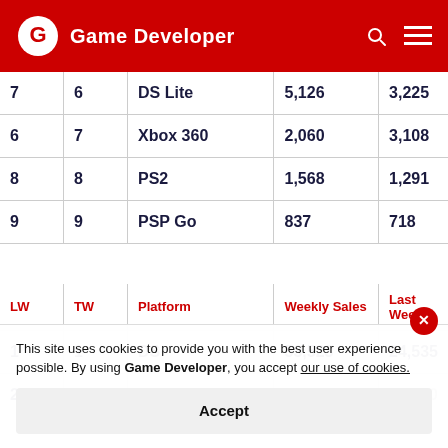Game Developer
| LW | TW | Platform | Weekly Sales | Last Week |
| --- | --- | --- | --- | --- |
| 7 | 6 | DS Lite | 5,126 | 3,225 |
| 6 | 7 | Xbox 360 | 2,060 | 3,108 |
| 8 | 8 | PS2 | 1,568 | 1,291 |
| 9 | 9 | PSP Go | 837 | 718 |
| LW | TW | Platform | Weekly Sales | Last Week |
| --- | --- | --- | --- | --- |
| 1 | 1 | DS | 53,523 | 24,535 |
| 2 | 2 | PSP | 21,756 | 22,380 |
This site uses cookies to provide you with the best user experience possible. By using Game Developer, you accept our use of cookies.